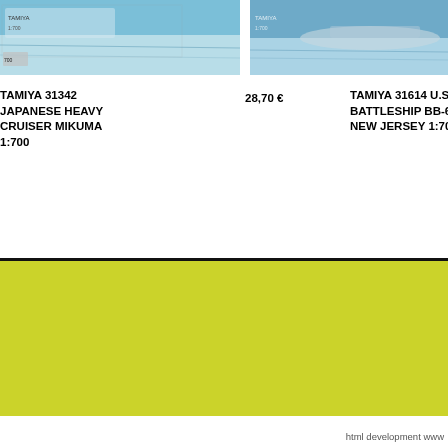[Figure (photo): Product photo of Tamiya 31342 Japanese Heavy Cruiser Mikuma 1:700 model kit box, partially visible at top left]
[Figure (photo): Product photo of Tamiya 31614 U.S. Battleship BB-62 New Jersey 1:700 model kit box, partially visible at top right]
TAMIYA 31342 JAPANESE HEAVY CRUISER MIKUMA 1:700
28,70 €
TAMIYA 31614 U.S. BATTLESHIP BB-62 NEW JERSEY 1:700
[Figure (other): Yellow/olive colored solid rectangle section]
html development www